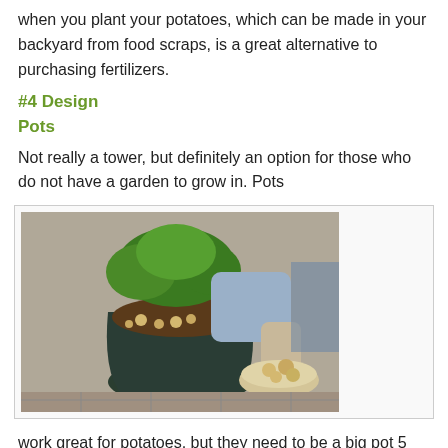when you plant your potatoes, which can be made in your backyard from food scraps, is a great alternative to purchasing fertilizers.
#4 Design
Pots
Not really a tower, but definitely an option for those who do not have a garden to grow in. Pots
[Figure (photo): A person tipping a large dark green pot on its side outdoors, showing small potatoes inside the soil, with lush green potato plant foliage at the top, and a bowl of harvested potatoes nearby on a stone/brick patio.]
work great for potatoes, but they need to be a big pot 5 gallon is a good size.  The problem with smaller pots is that on a hot windy day mid summer, you can water in the morning, but by 1:00pm the plant may have used up all the